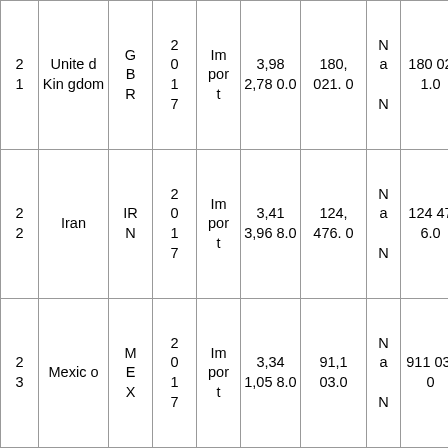| 2 1 | United Kingdom | G B R | 2 0 1 7 | Im por t | 3,98 2,78 0.0 | 180, 021. 0 | N a N | 180 02 1.0 | 22. 12 |
| 2 2 | Iran | IR N | 2 0 1 7 | Im por t | 3,41 3,96 8.0 | 124, 476. 0 | N a N | 124 47 6.0 | 27. 43 |
| 2 3 | Mexico | M E X | 2 0 1 7 | Im por t | 3,34 1,05 8.0 | 91,1 03.0 | N a N | 911 03. 0 | 36. 67 |